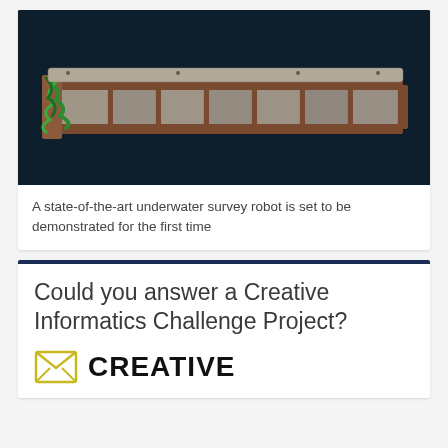[Figure (photo): An underwater survey robot or equipment – a long rectangular metal frame filled with concrete-like blocks, with green cables/ropes at one end, photographed against a dark navy background.]
A state-of-the-art underwater survey robot is set to be demonstrated for the first time
Could you answer a Creative Informatics Challenge Project?
[Figure (logo): Creative Informatics logo: an envelope icon in yellow/green outline on the left, followed by the word CREATIVE in large bold black capital letters partially visible.]